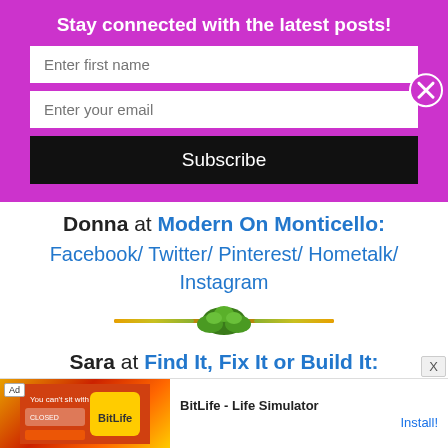Stay connected with the latest posts!
Enter first name
Enter your email
Subscribe
Donna at Modern On Monticello: Facebook/ Twitter/ Pinterest/ Hometalk/ Instagram
[Figure (illustration): Decorative divider with floral/leaf motif on a horizontal bar]
Sara at Find It, Fix It or Build It: Facebook/ Twitter/ Pinterest/ Instagram
[Figure (screenshot): Ad banner: BitLife - Life Simulator advertisement at bottom of page]